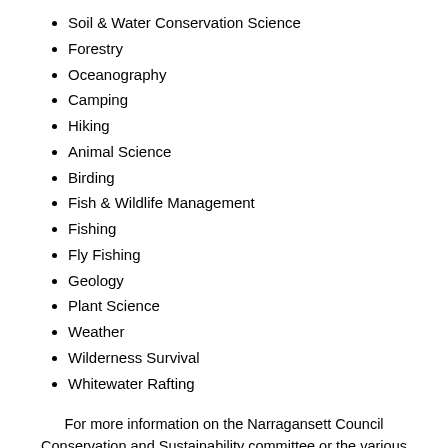Soil & Water Conservation Science
Forestry
Oceanography
Camping
Hiking
Animal Science
Birding
Fish & Wildlife Management
Fishing
Fly Fishing
Geology
Plant Science
Weather
Wilderness Survival
Whitewater Rafting
For more information on the Narragansett Council Conservation and Sustainability committee or the various conservation related programs and awards in scouting, please visit:
Ncbsa.org/conservation